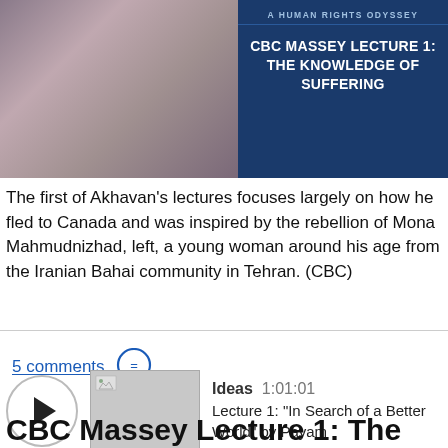[Figure (photo): Banner image with photo of a young woman on the left and dark blue overlay on the right with CBC Massey Lecture title text]
CBC MASSEY LECTURE 1: THE KNOWLEDGE OF SUFFERING
The first of Akhavan's lectures focuses largely on how he fled to Canada and was inspired by the rebellion of Mona Mahmudnizhad, left, a young woman around his age from the Iranian Bahai community in Tehran. (CBC)
5 comments
[Figure (screenshot): Audio player with play button, thumbnail image, Ideas label with duration 1:01:01, and description Lecture 1: "In Search of a Better World" by Payam]
CBC Massey Lecture 1: The